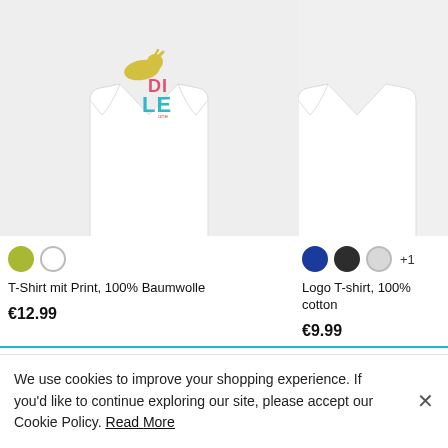[Figure (photo): Partial product image of a white T-shirt with colorful print (yellow animal/dinosaur and teal/coral letters 'DI LE') on a light gray background]
[Figure (photo): Partial product image of a white Logo T-shirt on a light gray background, only showing side/edge of garment]
T-Shirt mit Print, 100% Baumwolle
€12.99
Logo T-shirt, 100% cotton
€9.99
We use cookies to improve your shopping experience. If you'd like to continue exploring our site, please accept our Cookie Policy. Read More